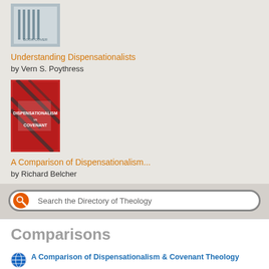[Figure (illustration): Book cover thumbnail for Understanding Dispensationalists]
Understanding Dispensationalists
by Vern S. Poythress
[Figure (illustration): Book cover thumbnail for A Comparison of Dispensationalism - red cover with diagonal stripes]
A Comparison of Dispensationalism...
by Richard Belcher
[Figure (other): Search bar with orange search icon reading: Search the Directory of Theology]
Comparisons
[Figure (other): Globe icon]
A Comparison of Dispensationalism & Covenant Theology
Web Page by Richard Belcher
[Figure (other): Diagonal red-white icon]
The Two Resurrections: John 5:19-29 and Revelation